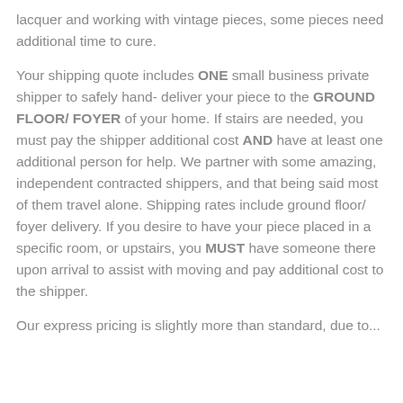lacquer and working with vintage pieces, some pieces need additional time to cure.
Your shipping quote includes ONE small business private shipper to safely hand- deliver your piece to the GROUND FLOOR/ FOYER of your home. If stairs are needed, you must pay the shipper additional cost AND have at least one additional person for help. We partner with some amazing, independent contracted shippers, and that being said most of them travel alone. Shipping rates include ground floor/ foyer delivery. If you desire to have your piece placed in a specific room, or upstairs, you MUST have someone there upon arrival to assist with moving and pay additional cost to the shipper.
Our express pricing is slightly more than standard, due to...